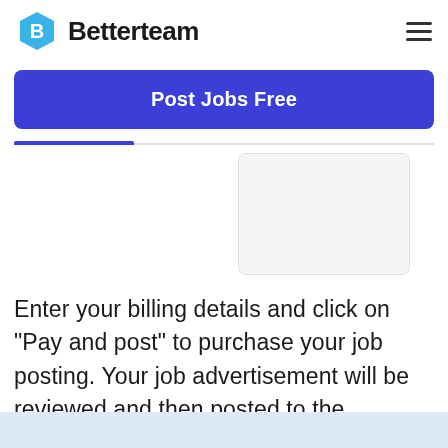Betterteam
Post Jobs Free
[Figure (screenshot): Partial screenshot of a billing form with a white/light gray card area and tab navigation bar with active blue underline indicator.]
Enter your billing details and click on "Pay and post" to purchase your job posting. Your job advertisement will be reviewed and then posted to the Careerin Tech Society job board.